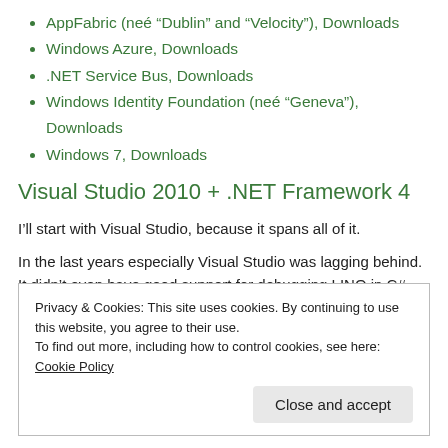AppFabric (neé “Dublin” and “Velocity”), Downloads
Windows Azure, Downloads
.NET Service Bus, Downloads
Windows Identity Foundation (neé “Geneva”), Downloads
Windows 7, Downloads
Visual Studio 2010 + .NET Framework 4
I’ll start with Visual Studio, because it spans all of it.
In the last years especially Visual Studio was lagging behind. It didn’t even have good support for debugging LINQ in C# – what could we then expect from integration with other products from
Privacy & Cookies: This site uses cookies. By continuing to use this website, you agree to their use.
To find out more, including how to control cookies, see here: Cookie Policy
Close and accept